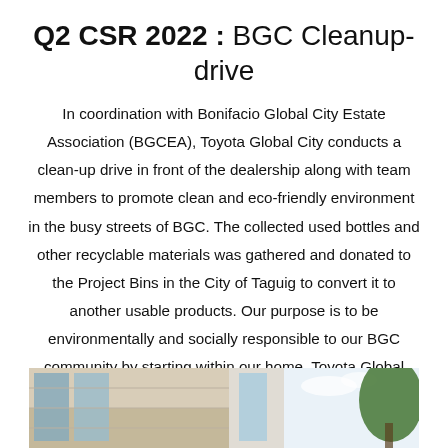Q2 CSR 2022 : BGC Cleanup-drive
In coordination with Bonifacio Global City Estate Association (BGCEA), Toyota Global City conducts a clean-up drive in front of the dealership along with team members to promote clean and eco-friendly environment in the busy streets of BGC. The collected used bottles and other recyclable materials was gathered and donated to the Project Bins in the City of Taguig to convert it to another usable products. Our purpose is to be environmentally and socially responsible to our BGC community by starting within our home, Toyota Global City.
[Figure (photo): Partial view of a building exterior (Toyota Global City dealership) with glass windows on the left and a tree visible on the right against a light sky background.]